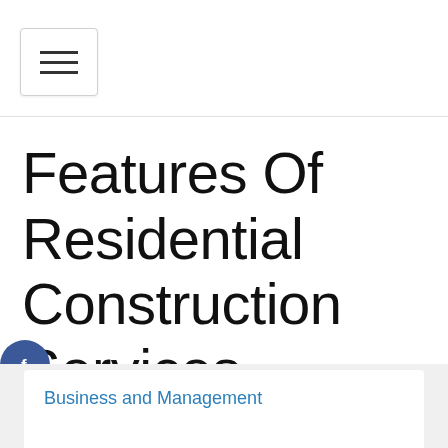[Figure (screenshot): Hamburger menu button with three horizontal bars, white background with light border]
Features Of Residential Construction Services
[Figure (other): Social media icons column: Facebook (blue circle with f), Google+ (red circle with g+), Twitter (light blue circle with bird), Add/Plus (dark circle with +)]
Business and Management